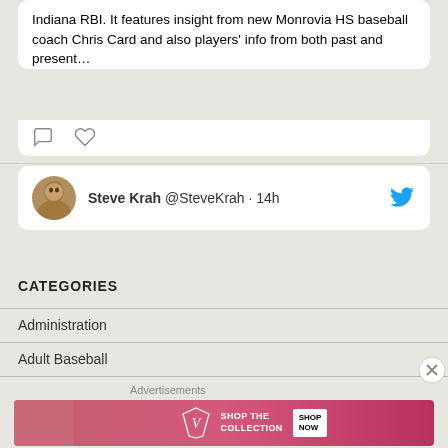Indiana RBI. It features insight from new Monrovia HS baseball coach Chris Card and also players' info from both past and present…
[Figure (screenshot): Tweet action icons: comment bubble and heart/like icon]
Steve Krah @SteveKrah · 14h
CATEGORIES
Administration
Adult Baseball
[Figure (photo): Victoria's Secret advertisement banner: SHOP THE COLLECTION / SHOP NOW]
Advertisements